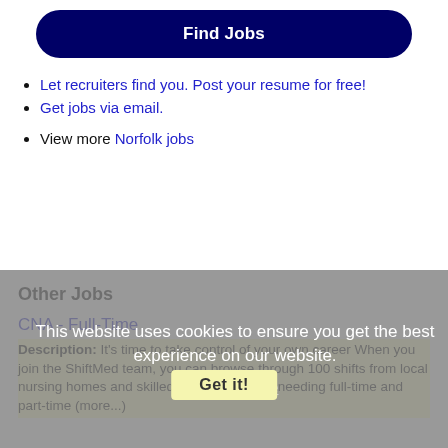Find Jobs
Let recruiters find you. Post your resume for free!
Get jobs via email.
View more Norfolk jobs
Other Jobs
This website uses cookies to ensure you get the best experience on our website. Learn more
Get it!
CNA - Full-Time
Description: It's time to take control of your own career When you join the ShiftMed team, you can browse through 100 shifts from local nursing homes and skilled nursing facilities needing full-time and part-time (more...)